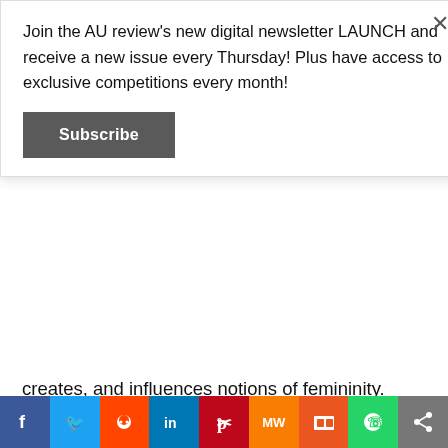Join the AU review's new digital newsletter LAUNCH and receive a new issue every Thursday! Plus have access to exclusive competitions every month!
Subscribe
creates, and influences notions of femininity. According to Barbara Dudek, the songwriter:
“This song is a deeper reflection about femininity, an attempt to find it anew. ‘Atlantis’ itself as a ‘wonder island’ was a good metaphor for me to sing about the wild spirit, deeper sorrow, intuition, and instincts as a bunch of necessary tools for